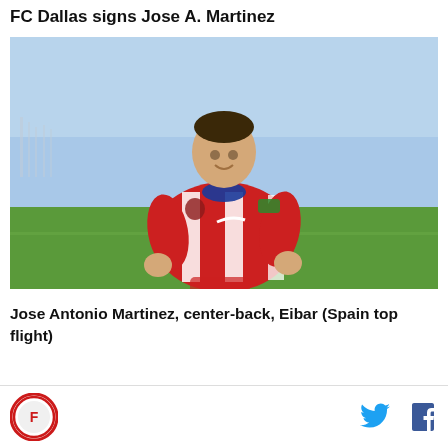FC Dallas signs Jose A. Martinez
[Figure (photo): Jose Antonio Martinez wearing a red and white striped Granada CF football kit, posing on a grass pitch with a blue sky background]
Jose Antonio Martinez, center-back, Eibar (Spain top flight)
FC Dallas logo icon | Twitter icon | Facebook icon